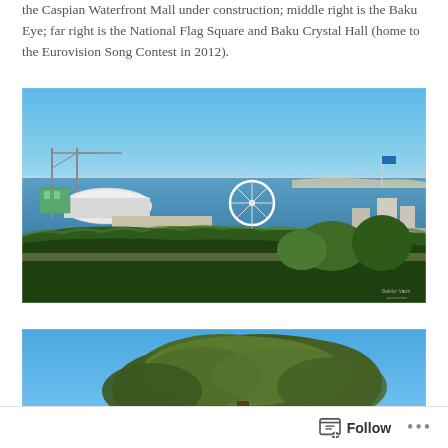the Caspian Waterfront Mall under construction; middle right is the Baku Eye; far right is the National Flag Square and Baku Crystal Hall (home to the Eurovision Song Contest in 2012).
[Figure (photo): Panoramic aerial view of Baku's waterfront showing the Caspian Sea, Caspian Waterfront Mall under construction on the left, the Baku Eye ferris wheel in the middle, and National Flag Square with trees in the foreground.]
[Figure (photo): Close-up photo of a dense, bushy tree against a bright blue sky.]
Follow